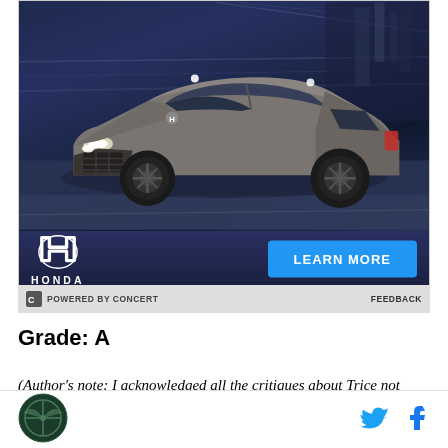[Figure (photo): Honda SUV advertisement showing a gray/taupe Honda crossover/SUV driving on a dark road with motion blur background. Bottom of ad shows Honda logo on left and a blue 'LEARN MORE' button on right.]
POWERED BY CONCERT    FEEDBACK
Grade: A
(Author's note: I acknowledged all the critiques about Trice not
[Figure (logo): Site logo - circular dark green badge with crosshair/target design]
[Figure (logo): Twitter bird icon in blue]
[Figure (logo): Facebook 'f' icon in blue]